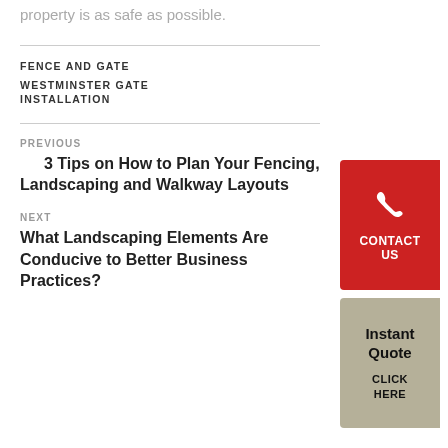property is as safe as possible.
FENCE AND GATE
WESTMINSTER GATE INSTALLATION
PREVIOUS
3 Tips on How to Plan Your Fencing, Landscaping and Walkway Layouts
NEXT
What Landscaping Elements Are Conducive to Better Business Practices?
[Figure (other): Red contact us button with phone icon]
[Figure (other): Beige instant quote button with click here text]